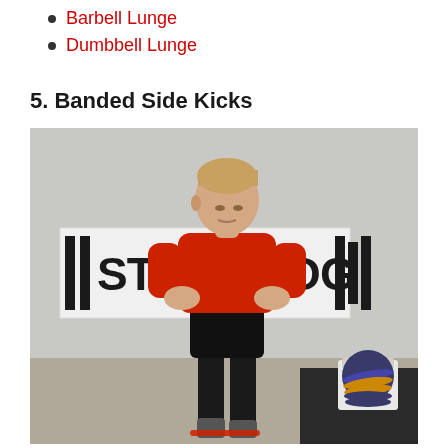Barbell Lunge
Dumbbell Lunge
5. Banded Side Kicks
[Figure (photo): A muscular man wearing a red t-shirt and black shorts stands with his hands on his hips in a gym, looking downward. Behind him is a white banner reading 'STRENGTHLOG'. To the right is a weight plate rack with colored bumper plates. A red resistance band is visible near his feet on the floor.]